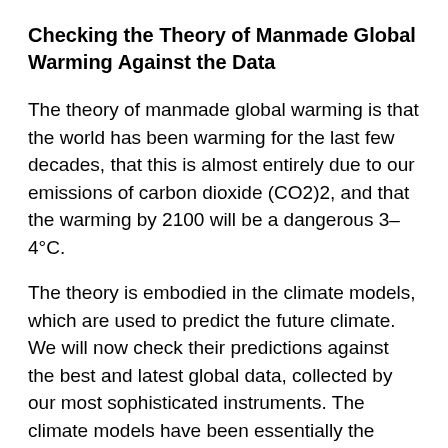Checking the Theory of Manmade Global Warming Against the Data
The theory of manmade global warming is that the world has been warming for the last few decades, that this is almost entirely due to our emissions of carbon dioxide (CO2)2, and that the warming by 2100 will be a dangerous 3–4°C.
The theory is embodied in the climate models, which are used to predict the future climate. We will now check their predictions against the best and latest global data, collected by our most sophisticated instruments. The climate models have been essentially the same for almost 30 years now, maintaining roughly the same sensitivity to extra CO2 even while they became more detailed as computer power increased. So it is fair to compare their